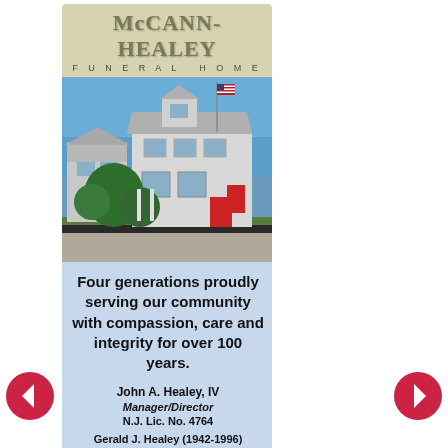[Figure (logo): McCann-Healey Funeral Home logo with stylized text on tan/olive background]
[Figure (photo): Exterior photo of the McCann-Healey Funeral Home building, a large white two-story house with American flag, surrounded by trees and an iron fence]
Four generations proudly serving our community with compassion, care and integrity for over 100 years.
John A. Healey, IV
Manager/Director
N.J. Lic. No. 4764
Gerald J. Healey (1942-1996)